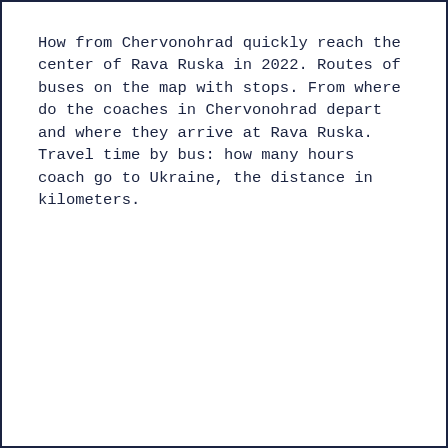How from Chervonohrad quickly reach the center of Rava Ruska in 2022. Routes of buses on the map with stops. From where do the coaches in Chervonohrad depart and where they arrive at Rava Ruska. Travel time by bus: how many hours coach go to Ukraine, the distance in kilometers.